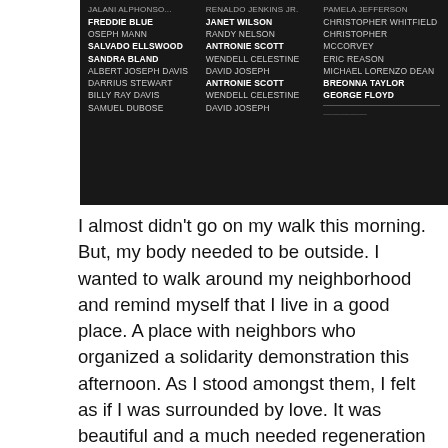[Figure (photo): Dark image showing a list of names of Black Americans killed by police, displayed in three columns against a dark background. Names include Sandra Bland, Freddie Blue, Samuel Dubose, Janet Wilson, Randy Nelson, Antronie Scott, Wendell Celestine, David Joseph, Christopher Whitfield, Christopher McCorvey, Eric Reason, Michael Lorenzo Dean, Breonna Taylor, George Floyd, and others.]
I almost didn't go on my walk this morning. But, my body needed to be outside. I wanted to walk around my neighborhood and remind myself that I live in a good place. A place with neighbors who organized a solidarity demonstration this afternoon. As I stood amongst them, I felt as if I was surrounded by love. It was beautiful and a much needed regeneration after this mentally draining week. However, that feeling was stripped bare when I got home and saw what was posted on the Citizen app about our peaceful protest. Throughout the time we were standing along Harford road, three police officers stood nearby, watching us. The police helicopter circled around above us, multiple times, putting our tax dollars to good use. Our group of maybe 50